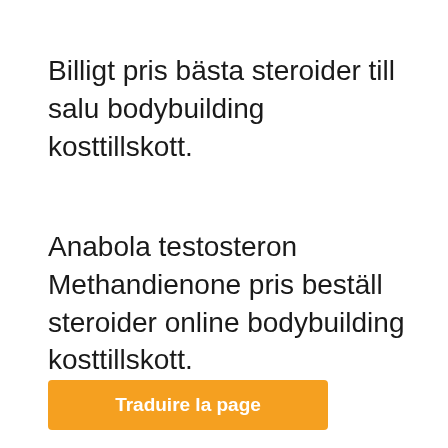Billigt pris bästa steroider till salu bodybuilding kosttillskott.
Anabola testosteron Methandienone pris beställ steroider online bodybuilding kosttillskott.
Traduire la page